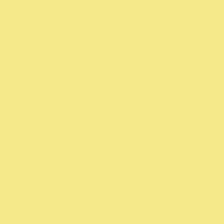I sometimes head for the children's s instance, when I wanted to learn how more intelligently (having never play did), I went to the children's section Baseball" or "Baseball Basics" or so approximately for 12-year-olds, and everything in orderly, simple terms a know what a bunt is, and that a playe hit, and why the second baseman do forth.
Mike
Posted by: Mike Johnston | Wednesday, 30 September
I have to agree that this really was a and the "if you don't own this book y off even considering it.
Besides, as far as I can glean from b about sharpening. It seems to be a b